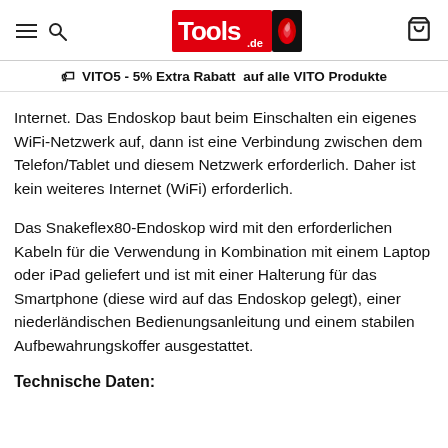Tools.de
VITO5 - 5% Extra Rabatt auf alle VITO Produkte
Internet. Das Endoskop baut beim Einschalten ein eigenes WiFi-Netzwerk auf, dann ist eine Verbindung zwischen dem Telefon/Tablet und diesem Netzwerk erforderlich. Daher ist kein weiteres Internet (WiFi) erforderlich.
Das Snakeflex80-Endoskop wird mit den erforderlichen Kabeln für die Verwendung in Kombination mit einem Laptop oder iPad geliefert und ist mit einer Halterung für das Smartphone (diese wird auf das Endoskop gelegt), einer niederländischen Bedienungsanleitung und einem stabilen Aufbewahrungskoffer ausgestattet.
Technische Daten: